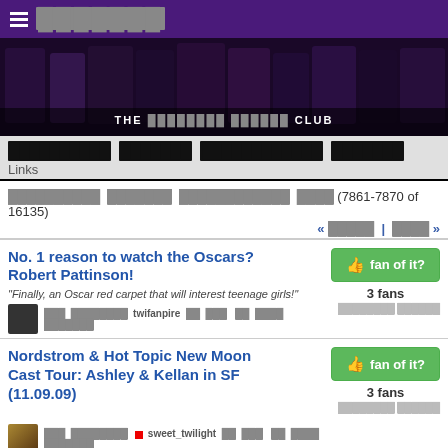☰ [blocked] — THE [blocked] [blocked] CLUB
[Figure (photo): Twilight movie cast banner with multiple actors and characters in a horizontal strip]
[blocked] [blocked] [blocked] [blocked] Links
[blocked] [blocked] [blocked] [blocked] (7861-7870 of 16135) « [blocked] | [blocked] »
No. 1 reason to watch the Oscars? Robert Pattinson! — "Finally, an Oscar red carpet that will interest teenage girls!" — 3 fans
Nordstrom & Hot Topic New Moon Cast Tour: Ashley & Kellan in SF (11.09.09) — 3 fans